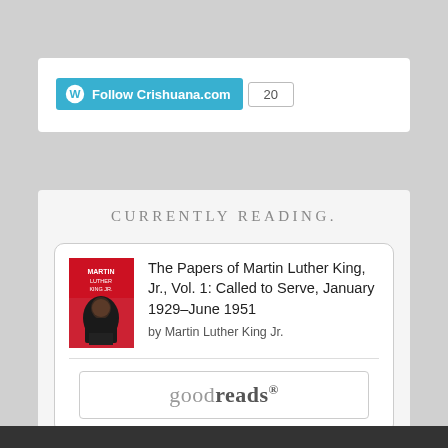[Figure (screenshot): WordPress Follow button for Crishuana.com with a count badge showing 20 followers]
CURRENTLY READING.
[Figure (illustration): Book cover for The Papers of Martin Luther King Jr., Vol. 1 — red cover with portrait of MLK]
The Papers of Martin Luther King, Jr., Vol. 1: Called to Serve, January 1929–June 1951
by Martin Luther King Jr.
[Figure (logo): goodreads logo button]